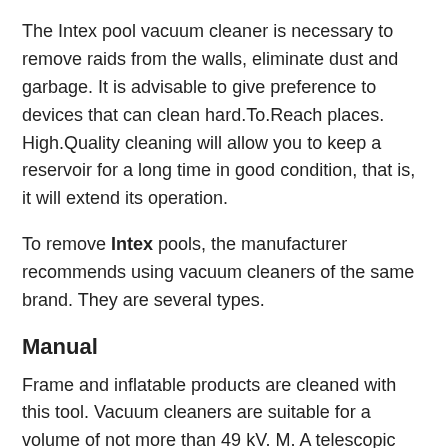The Intex pool vacuum cleaner is necessary to remove raids from the walls, eliminate dust and garbage. It is advisable to give preference to devices that can clean hard.To.Reach places. High.Quality cleaning will allow you to keep a reservoir for a long time in good condition, that is, it will extend its operation.
To remove Intex pools, the manufacturer recommends using vacuum cleaners of the same brand. They are several types.
Manual
Frame and inflatable products are cleaned with this tool. Vacuum cleaners are suitable for a volume of not more than 49 kV. M. A telescopic holder and 2 nozzles are included with underwater models of a manual device: